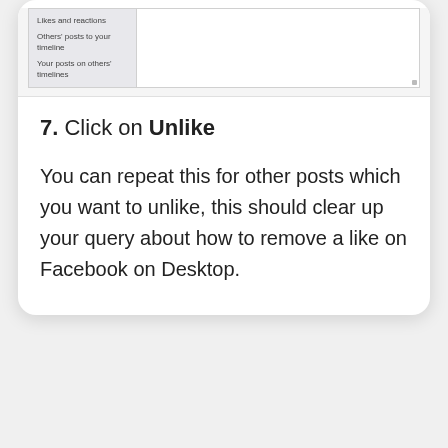[Figure (screenshot): Screenshot of a Facebook activity log interface showing sidebar items: 'Likes and reactions', 'Others' posts to your timeline', 'Your posts on others' timelines']
7. Click on Unlike
You can repeat this for other posts which you want to unlike, this should clear up your query about how to remove a like on Facebook on Desktop.